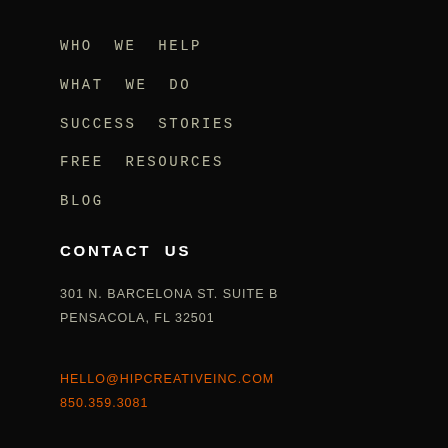WHO WE HELP
WHAT WE DO
SUCCESS STORIES
FREE RESOURCES
BLOG
CONTACT US
301 N. BARCELONA ST. SUITE B
PENSACOLA, FL 32501
HELLO@HIPCREATIVEINC.COM
850.359.3081